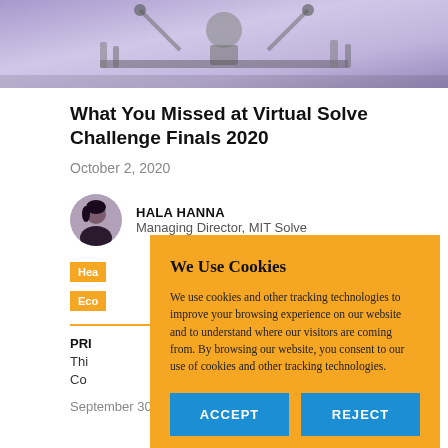[Figure (photo): Hero image showing robotics/lab equipment with purple-tinted lighting, likely from MIT Solve Challenge event]
What You Missed at Virtual Solve Challenge Finals 2020
October 2, 2020
HALA HANNA
Managing Director, MIT Solve
Hea[lth]
Eco[nomy]
We Use Cookies
We use cookies and other tracking technologies to improve your browsing experience on our website and to understand where our visitors are coming from. By browsing our website, you consent to our use of cookies and other tracking technologies.
ACCEPT
REJECT
PRI[or article title truncated]
Thi[s...]
Co[ntinued...]
September 30, 2020